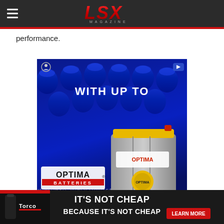LSX Magazine
performance.
[Figure (photo): Optima Batteries advertisement showing 'WITH UP TO' text over blue battery cells background, with an Optima yellow-top battery prominently displayed. Text reads: OPTIMA BATTERIES - THE ULTIMATE POWER SOURCE]
[Figure (photo): Torco oil advertisement banner reading: IT'S NOT CHEAP BECAUSE IT'S NOT CHEAP, with LEARN MORE button]